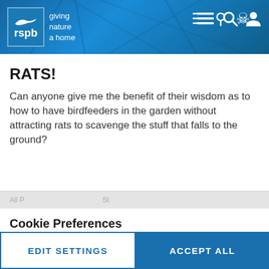[Figure (logo): RSPB logo with bird silhouette and text 'giving nature a home' on blue header background with cracked texture]
RATS!
Can anyone give me the benefit of their wisdom as to how to have birdfeeders in the garden without attracting rats to scavenge the stuff that falls to the ground?
Cookie Preferences
Accepting all non-essential cookies helps us to personalise your experience
EDIT SETTINGS
ACCEPT ALL